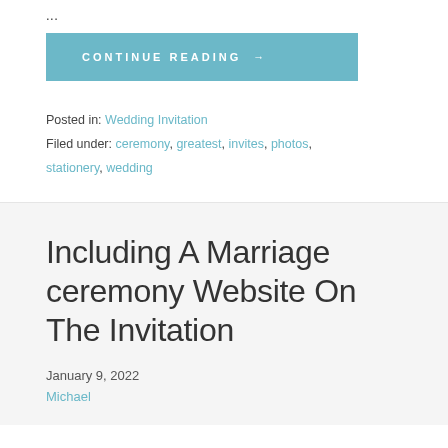...
CONTINUE READING →
Posted in: Wedding Invitation
Filed under: ceremony, greatest, invites, photos, stationery, wedding
Including A Marriage ceremony Website On The Invitation
January 9, 2022
Michael